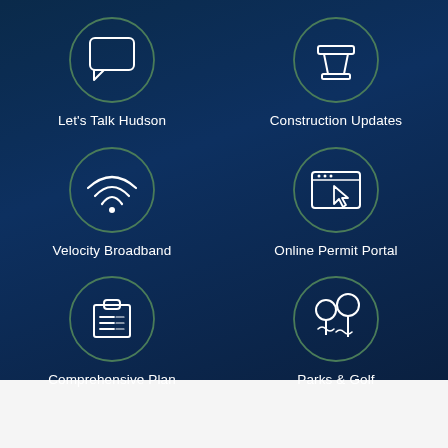[Figure (infographic): Grid of 6 icon tiles on dark navy background: Let's Talk Hudson (speech bubble icon), Construction Updates (traffic cone icon), Velocity Broadband (wifi icon), Online Permit Portal (browser/cursor icon), Comprehensive Plan (clipboard/checklist icon), Parks & Golf (trees icon)]
Let's Talk Hudson
Construction Updates
Velocity Broadband
Online Permit Portal
Comprehensive Plan
Parks & Golf